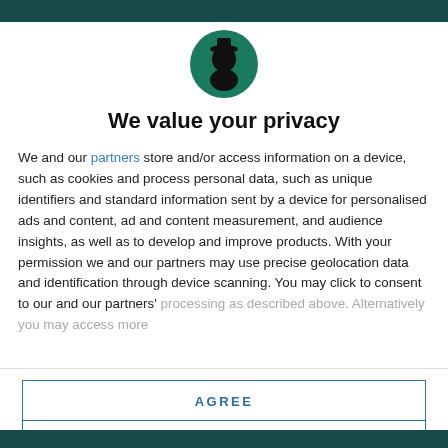[Figure (logo): Circular green logo with a black silhouette of a figure (person with hat) inside]
We value your privacy
We and our partners store and/or access information on a device, such as cookies and process personal data, such as unique identifiers and standard information sent by a device for personalised ads and content, ad and content measurement, and audience insights, as well as to develop and improve products. With your permission we and our partners may use precise geolocation data and identification through device scanning. You may click to consent to our and our partners' processing as described above. Alternatively you may access more
AGREE
MORE OPTIONS